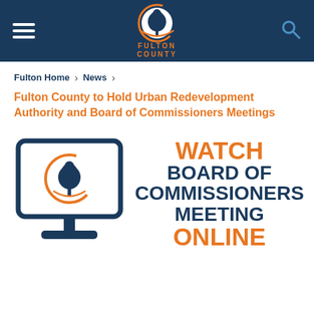Fulton County
Fulton Home  >  News  >
Fulton County to Hold Urban Redevelopment Authority and Board of Commissioners Meetings
[Figure (infographic): Monitor/computer screen icon with Fulton County tree logo on screen, next to large text reading WATCH BOARD OF COMMISSIONERS MEETING ONLINE]